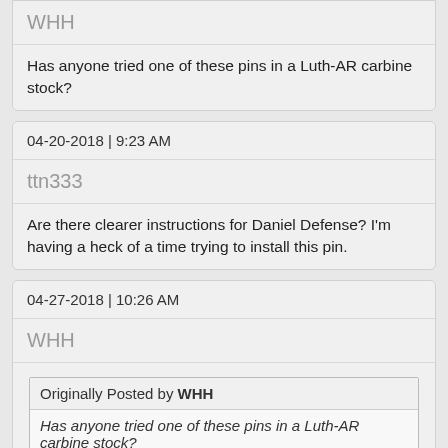WHH
Has anyone tried one of these pins in a Luth-AR carbine stock?
04-20-2018 | 9:23 AM
ttn333
Are there clearer instructions for Daniel Defense? I'm having a heck of a time trying to install this pin.
04-27-2018 | 10:26 AM
WHH
Originally Posted by WHH
Has anyone tried one of these pins in a Luth-AR carbine stock?
Reporting in to note that this does work, but the screw is too long